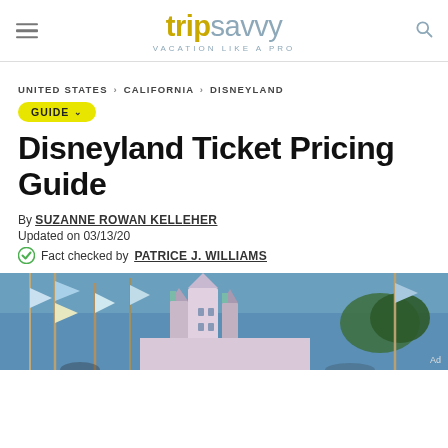tripsavvy — VACATION LIKE A PRO
UNITED STATES > CALIFORNIA > DISNEYLAND
GUIDE
Disneyland Ticket Pricing Guide
By SUZANNE ROWAN KELLEHER
Updated on 03/13/20
Fact checked by PATRICE J. WILLIAMS
[Figure (photo): Disneyland castle with blue sky and decorative banners in foreground]